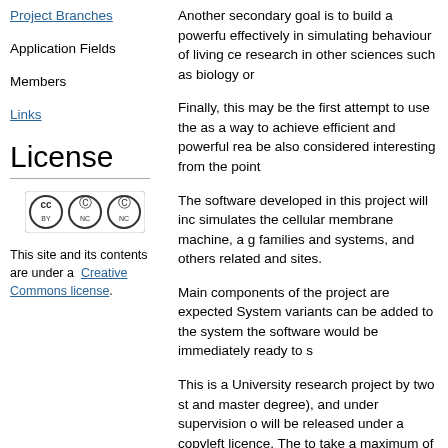Project Branches
Application Fields
Members
Links
License
[Figure (logo): Creative Commons license badge with CC BY NC icons]
This site and its contents are under a Creative Commons license.
Another secondary goal is to build a powerfu effectively in simulating behaviour of living ce research in other sciences such as biology or
Finally, this may be the first attempt to use the as a way to achieve efficient and powerful rea be also considered interesting from the point
The software developed in this project will inc simulates the cellular membrane machine, a g families and systems, and others related and sites.
Main components of the project are expected System variants can be added to the system the software would be immediately ready to s
This is a University research project by two st and master degree), and under supervision o will be released under a copyleft licence. The to take a maximum of three years to release a release versions of some components of the s spring 2007.